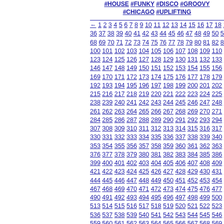#HOUSE #FUNKY #DISCO #GROOVY #CHICAGO #UPLIFTING
← 1 2 3 4 5 6 7 8 9 10 11 12 13 14 15 16 17 18 19 ... 36 37 38 39 40 41 42 43 44 45 46 47 48 49 50 51 ... 68 69 70 71 72 73 74 75 76 77 78 79 80 81 82 83 ... 100 101 102 103 104 105 106 107 108 109 110 11... etc.